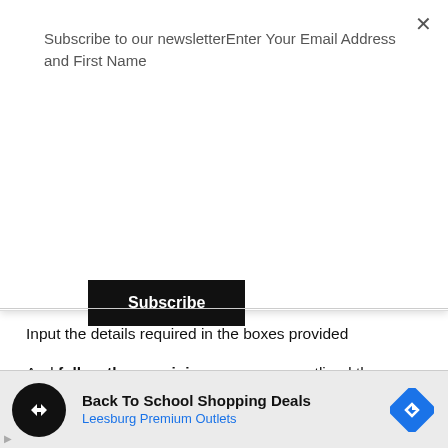Subscribe to our newsletterEnter Your Email Address and First Name
Subscribe
Input the details required in the boxes provided
And follow the remaining process as outlined there.
N.B You must have deposited some amount of money before you can load Glo card or any other network.
[Figure (screenshot): Advertisement banner: Back To School Shopping Deals - Leesburg Premium Outlets with logo and direction arrow icon]